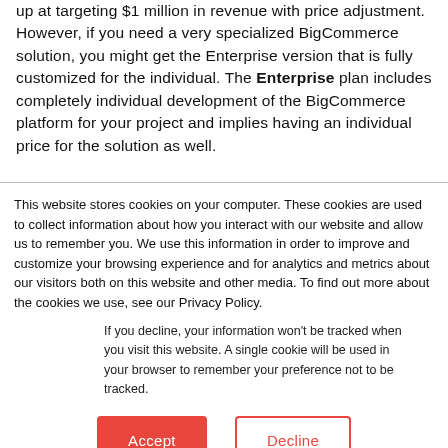up at targeting $1 million in revenue with price adjustment. However, if you need a very specialized BigCommerce solution, you might get the Enterprise version that is fully customized for the individual. The Enterprise plan includes completely individual development of the BigCommerce platform for your project and implies having an individual price for the solution as well.
This website stores cookies on your computer. These cookies are used to collect information about how you interact with our website and allow us to remember you. We use this information in order to improve and customize your browsing experience and for analytics and metrics about our visitors both on this website and other media. To find out more about the cookies we use, see our Privacy Policy.
If you decline, your information won't be tracked when you visit this website. A single cookie will be used in your browser to remember your preference not to be tracked.